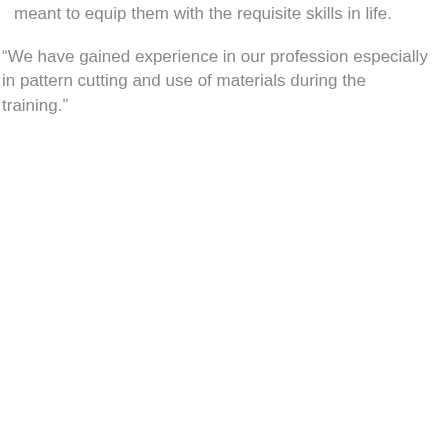meant to equip them with the requisite skills in life.
“We have gained experience in our profession especially in pattern cutting and use of materials during the training.”